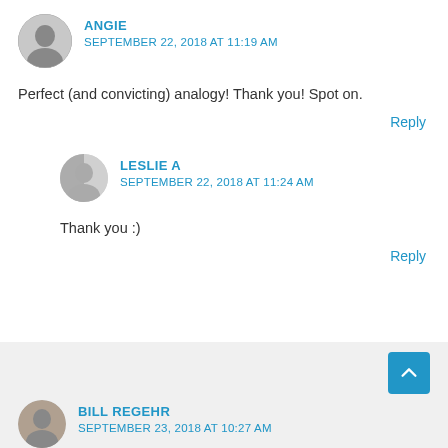ANGIE
SEPTEMBER 22, 2018 AT 11:19 AM
Perfect (and convicting) analogy! Thank you! Spot on.
Reply
LESLIE A
SEPTEMBER 22, 2018 AT 11:24 AM
Thank you :)
Reply
BILL REGEHR
SEPTEMBER 23, 2018 AT 10:27 AM